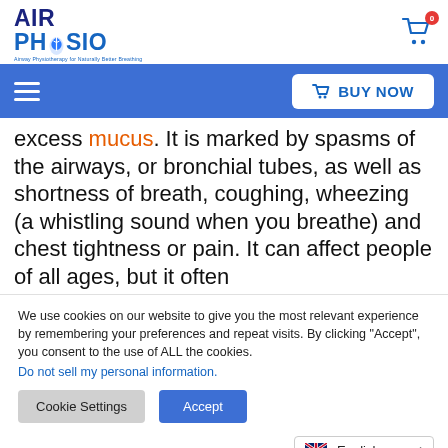[Figure (logo): AirPhysio logo with leaf/swoosh graphic, tagline: Airway Physiotherapy for Naturally Better Breathing]
[Figure (other): Shopping cart icon with red badge showing 0]
[Figure (other): Hamburger menu icon (three white lines) on blue navigation bar]
BUY NOW button with shopping cart icon on blue navigation bar
excess mucus. It is marked by spasms of the airways, or bronchial tubes, as well as shortness of breath, coughing, wheezing (a whistling sound when you breathe) and chest tightness or pain. It can affect people of all ages, but it often
We use cookies on our website to give you the most relevant experience by remembering your preferences and repeat visits. By clicking “Accept”, you consent to the use of ALL the cookies.
Do not sell my personal information.
Cookie Settings
Accept
English